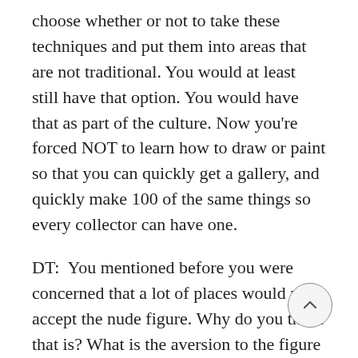choose whether or not to take these techniques and put them into areas that are not traditional. You would at least still have that option. You would have that as part of the culture. Now you're forced NOT to learn how to draw or paint so that you can quickly get a gallery, and quickly make 100 of the same things so every collector can have one.
DT:  You mentioned before you were concerned that a lot of places would not accept the nude figure. Why do you think that is? What is the aversion to the figure that exists today?
MB: I have no idea why. Maybe there [is a lot] of sublimated sexuality going on. People are afraid of their bodies. They're afraid of